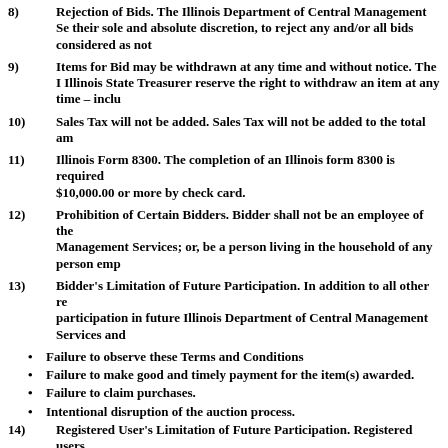8) Rejection of Bids. The Illinois Department of Central Management Se their sole and absolute discretion, to reject any and/or all bids considered as not
9) Items for Bid may be withdrawn at any time and without notice. The Illinois State Treasurer reserve the right to withdraw an item at any time – inclu
10) Sales Tax will not be added. Sales Tax will not be added to the total am
11) Illinois Form 8300. The completion of an Illinois form 8300 is required $10,000.00 or more by check card.
12) Prohibition of Certain Bidders. Bidder shall not be an employee of the Management Services; or, be a person living in the household of any person emp
13) Bidder's Limitation of Future Participation. In addition to all other re participation in future Illinois Department of Central Management Services and
Failure to observe these Terms and Conditions
Failure to make good and timely payment for the item(s) awarded.
Failure to claim purchases.
Intentional disruption of the auction process.
14) Registered User's Limitation of Future Participation. Registered users Management Services and/or Office of the Illinois State Treasurer sales for any
Suspicious registration information.
Incomplete registration information.
Failure to make timely payment of awarded bids
Failure to pick-up awarded property/merchandise
15) Payment. Payment for merchandise in the Springfield area must be m Cashier's Check or Money order paid to the order of: Office of the Illinois State
16) Shipping Restrictions. Only after full payment has been received ma